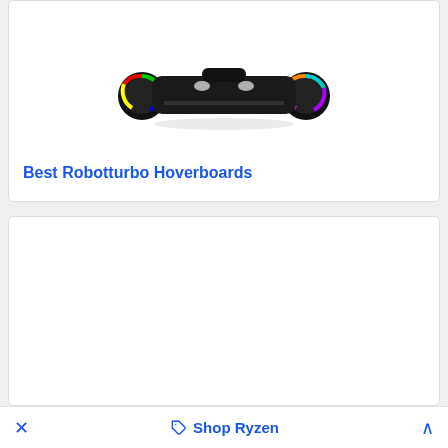[Figure (photo): A black hoverboard with RGB LED lights on the wheels, viewed from a slight angle, on a white background]
Best Robotturbo Hoverboards
[Figure (photo): Empty white card area, content not visible]
✕   🏷 Shop Ryzen   ∧